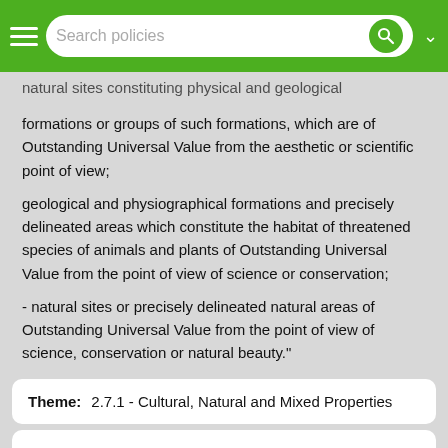Search policies
formations or groups of such formations, which are of Outstanding Universal Value from the aesthetic or scientific point of view;
geological and physiographical formations and precisely delineated areas which constitute the habitat of threatened species of animals and plants of Outstanding Universal Value from the point of view of science or conservation;
- natural sites or precisely delineated natural areas of Outstanding Universal Value from the point of view of science, conservation or natural beauty."
| Theme: |  |
| --- | --- |
| Theme: | 2.7.1 - Cultural, Natural and Mixed Properties |
| Source: |  |
| --- | --- |
| Source: | OG Operational Guidelines for the Implementation of the World Heritage Convention (WHC.19/01 - July 2019) |